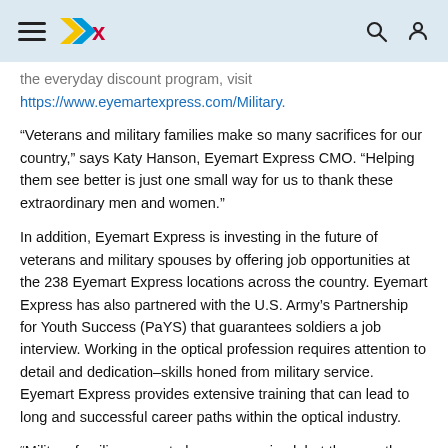[Eyemart Express navigation header with hamburger menu, logo, search, and profile icons]
the everyday discount program, visit https://www.eyemartexpress.com/Military.
“Veterans and military families make so many sacrifices for our country,” says Katy Hanson, Eyemart Express CMO. “Helping them see better is just one small way for us to thank these extraordinary men and women.”
In addition, Eyemart Express is investing in the future of veterans and military spouses by offering job opportunities at the 238 Eyemart Express locations across the country. Eyemart Express has also partnered with the U.S. Army’s Partnership for Youth Success (PaYS) that guarantees soldiers a job interview. Working in the optical profession requires attention to detail and dedication–skills honed from military service. Eyemart Express provides extensive training that can lead to long and successful career paths within the optical industry.
“Military families are not always recognized, but they are the ones who maintain normalcy at home,” says Hanson